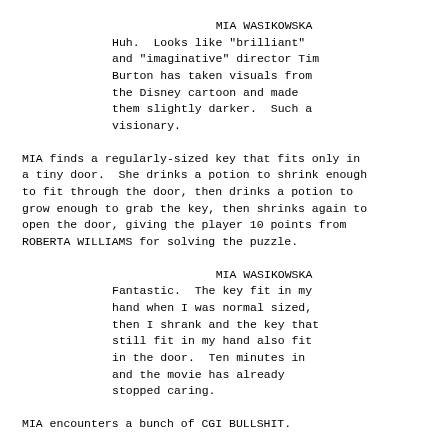MIA WASIKOWSKA
Huh.  Looks like "brilliant" and "imaginative" director Tim Burton has taken visuals from the Disney cartoon and made them slightly darker.  Such a visionary.
MIA finds a regularly-sized key that fits only in a tiny door.  She drinks a potion to shrink enough to fit through the door, then drinks a potion to grow enough to grab the key, then shrinks again to open the door, giving the player 10 points from ROBERTA WILLIAMS for solving the puzzle.
MIA WASIKOWSKA
Fantastic.  The key fit in my hand when I was normal sized, then I shrank and the key that still fit in my hand also fit in the door.  Ten minutes in and the movie has already stopped caring.
MIA encounters a bunch of CGI BULLSHIT.
CGI MATT LUCAS
I look like a CGI Stewie Griffin with an actual human's face pasted onto it!  Isn't that whimsical, yet kind of